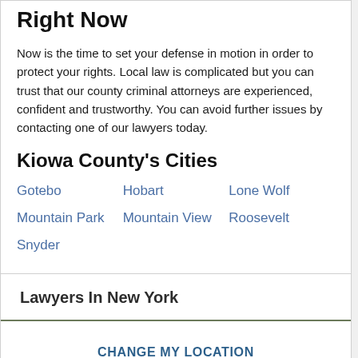Right Now
Now is the time to set your defense in motion in order to protect your rights. Local law is complicated but you can trust that our county criminal attorneys are experienced, confident and trustworthy. You can avoid further issues by contacting one of our lawyers today.
Kiowa County's Cities
Gotebo
Hobart
Lone Wolf
Mountain Park
Mountain View
Roosevelt
Snyder
Lawyers In New York
CHANGE MY LOCATION